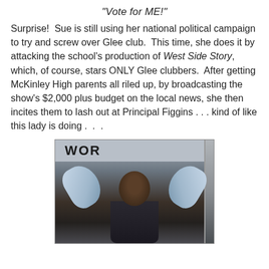"Vote for ME!"
Surprise!  Sue is still using her national political campaign to try and screw over Glee club.  This time, she does it by attacking the school's production of West Side Story, which, of course, stars ONLY Glee clubbers.  After getting McKinley High parents all riled up, by broadcasting the show's $2,000 plus budget on the local news, she then incites them to lash out at Principal Figgins . . . kind of like this lady is doing . . .
[Figure (photo): A person with arms raised up, appearing to be shouting or protesting, viewed through a window frame. The person is wearing a blue jacket over dark clothing.]